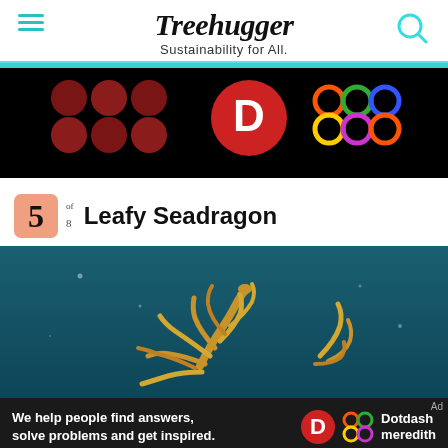Treehugger — Sustainability for All.
[Figure (photo): Advertisement banner with dark background, red circles pattern on left, Dotdash red D logo in center, and colorful interlocked rings on right]
5 of 8 Leafy Seadragon
[Figure (photo): Underwater photo of a leafy seadragon — a sea creature with yellow-orange leaf-like appendages against a teal/blue ocean background]
[Figure (photo): Advertisement banner: 'We help people find answers, solve problems and get inspired.' with Dotdash Meredith logo]